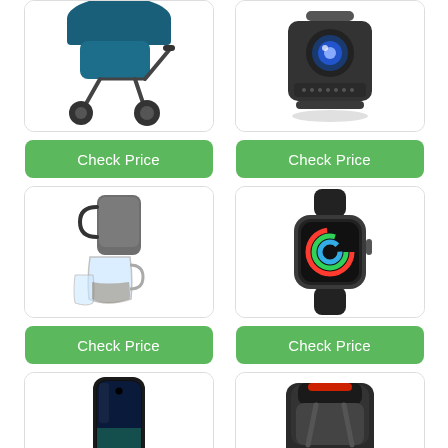[Figure (photo): Blue jogging stroller with three wheels]
[Figure (photo): Black portable projector]
Check Price
Check Price
[Figure (photo): Cold brew coffee maker with glass carafe]
[Figure (photo): Apple Watch with black sport band]
Check Price
Check Price
[Figure (photo): Samsung Galaxy smartphone]
[Figure (photo): Child car seat booster]